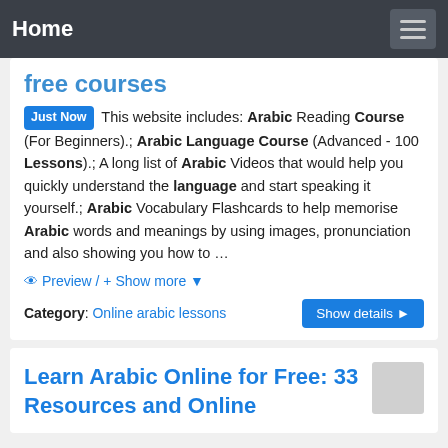Home
free courses
Just Now This website includes: Arabic Reading Course (For Beginners).; Arabic Language Course (Advanced - 100 Lessons).; A long list of Arabic Videos that would help you quickly understand the language and start speaking it yourself.; Arabic Vocabulary Flashcards to help memorise Arabic words and meanings by using images, pronunciation and also showing you how to …
Preview / + Show more
Category: Online arabic lessons
Learn Arabic Online for Free: 33 Resources and Online